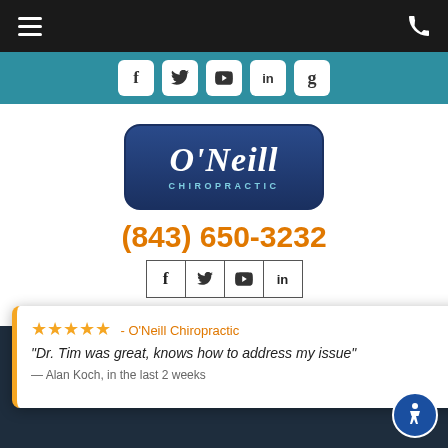[Figure (screenshot): Mobile website screenshot for O'Neill Chiropractic showing navigation, logo, phone number, social links, and a review popup]
(843) 650-3232
(843) 650-3232
★★★★★ - O'Neill Chiropractic
"Dr. Tim was great, knows how to address my issue"
— Alan Koch, in the last 2 weeks
⚡ by Review Wave